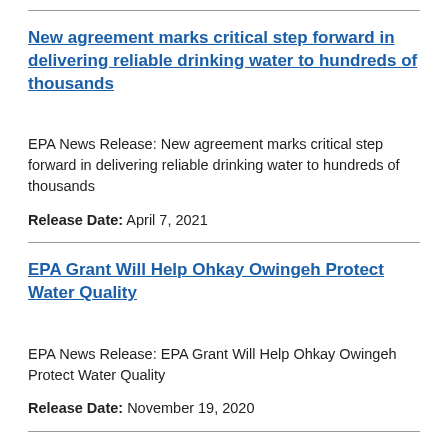New agreement marks critical step forward in delivering reliable drinking water to hundreds of thousands
EPA News Release: New agreement marks critical step forward in delivering reliable drinking water to hundreds of thousands
Release Date: April 7, 2021
EPA Grant Will Help Ohkay Owingeh Protect Water Quality
EPA News Release: EPA Grant Will Help Ohkay Owingeh Protect Water Quality
Release Date: November 19, 2020
Arkansas Natural Resource Commission